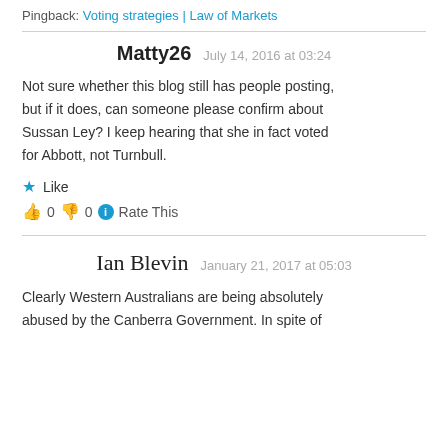Pingback: Voting strategies | Law of Markets
Matty26  July 14, 2016 at 03:24
Not sure whether this blog still has people posting, but if it does, can someone please confirm about Sussan Ley? I keep hearing that she in fact voted for Abbott, not Turnbull.
★ Like
👍 0 👎 0 ℹ Rate This
Ian Blevin  January 21, 2017 at 05:03
Clearly Western Australians are being absolutely abused by the Canberra Government. In spite of